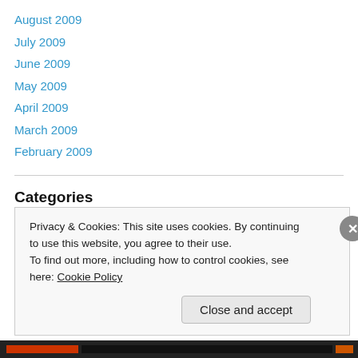August 2009
July 2009
June 2009
May 2009
April 2009
March 2009
February 2009
Categories
80's Classic
A Life in Movies
Privacy & Cookies: This site uses cookies. By continuing to use this website, you agree to their use.
To find out more, including how to control cookies, see here: Cookie Policy
Close and accept